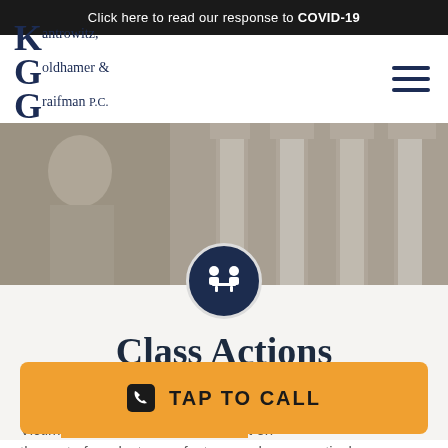Click here to read our response to COVID-19
[Figure (logo): Kantrowitz, Goldhamer & Graifman P.C. law firm logo with tagline 'The Fine Art of Practicing Law']
[Figure (photo): Courthouse with classical columns and a statue of Justice, with a circular dark navy icon showing two people at a table]
Class Actions
Our fi                                         ction.
Victim                                         t on the part of product manufacturers, pharmaceutical